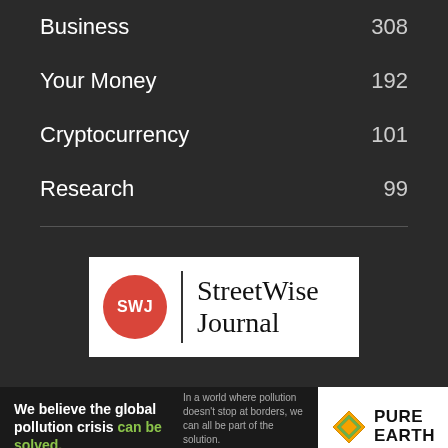Business 308
Your Money 192
Cryptocurrency 101
Research 99
[Figure (logo): StreetWise Journal logo: red circle with SWJ text, vertical divider, and serif text 'StreetWise Journal']
[Figure (infographic): Pure Earth advertisement banner: 'We believe the global pollution crisis can be solved.' with Pure Earth logo on right]
0 SHARES